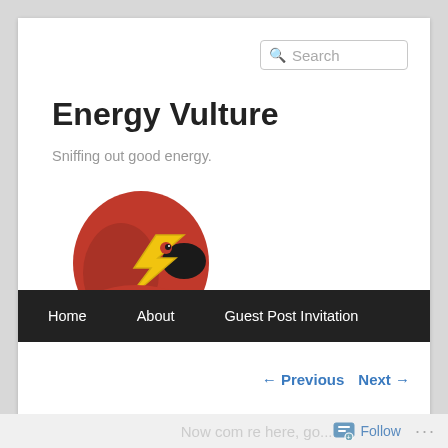Search
Energy Vulture
Sniffing out good energy.
[Figure (illustration): Logo of a red vulture bird head with a yellow lightning bolt, with spiky grey feathers at the bottom]
Home
About
Guest Post Invitation
← Previous   Next →
Follow  ...